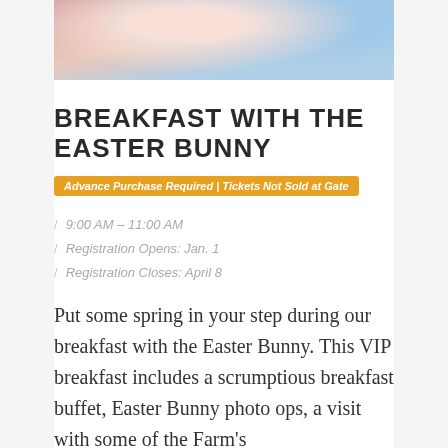[Figure (photo): Top portion of a photo showing children or people with an Easter Bunny character, cropped at the bottom of the photo strip]
BREAKFAST WITH THE EASTER BUNNY
Advance Purchase Required | Tickets Not Sold at Gate
9:00 AM – 11:00 AM
Registration Opens: Jan. 1
Registration Closes: April 8
Put some spring in your step during our breakfast with the Easter Bunny. This VIP breakfast includes a scrumptious breakfast buffet, Easter Bunny photo ops, a visit with some of the Farm's